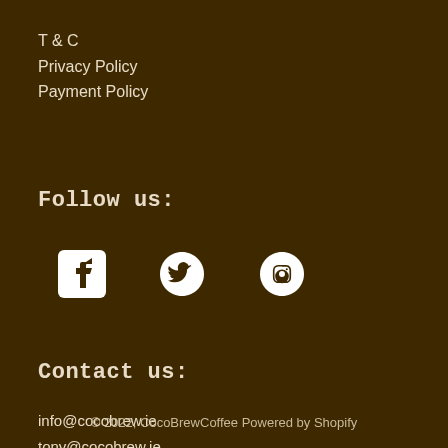T & C
Privacy Policy
Payment Policy
Follow us:
[Figure (illustration): Social media icons: Facebook, Twitter, Instagram]
Contact us:
info@cocobrew.ie
tony@cocobrew.ie
+353 87 932 1825
© 2022, CocoBrewCoffee Powered by Shopify